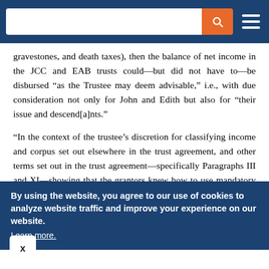[Figure (screenshot): Website navigation bar with search input, orange search button with magnifying glass icon, and white hamburger menu icon on dark blue background]
gravestones, and death taxes), then the balance of net income in the JCC and EAB trusts could—but did not have to—be disbursed “as the Trustee may deem advisable,” i.e., with due consideration not only for John and Edith but also for “their issue and descend[a]nts.”
"In the context of the trustee’s discretion for classifying income and corpus set out elsewhere in the trust agreement, and other terms set out in the trust agreement—specifically Paragraphs III and XI—showing that the grantors knew how to use mandatory language if they wanted to compel the distribution of all net income, Paragraph IX appears to demonstrate nothing more than the grantors’ desire to show the two children from J.C.’s first wife that they would enjoy
By using the website, you agree to our use of cookies to analyze website traffic and improve your experience on our website. Learn more.